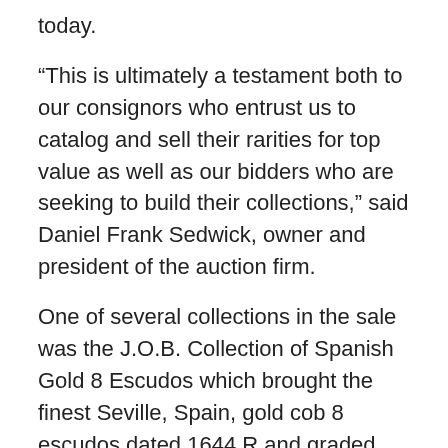today.
“This is ultimately a testament both to our consignors who entrust us to catalog and sell their rarities for top value as well as our bidders who are seeking to build their collections,” said Daniel Frank Sedwick, owner and president of the auction firm.
One of several collections in the sale was the J.O.B. Collection of Spanish Gold 8 Escudos which brought the finest Seville, Spain, gold cob 8 escudos dated 1644 R and graded NGC MS 63 to market. It sold for $72,000 on an estimate of $25,000 and up. The coin was notable for being the plate coin for its type in La Onza (2004) and Numismatica Espanola (2008), both by Calico, as well as Tauler’s Oro Macuquino (2011).
Other top lots sold include: